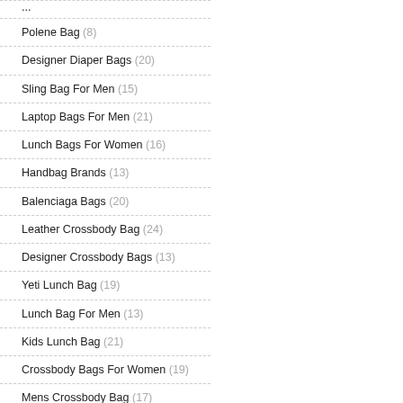Polene Bag (8)
Designer Diaper Bags (20)
Sling Bag For Men (15)
Laptop Bags For Men (21)
Lunch Bags For Women (16)
Handbag Brands (13)
Balenciaga Bags (20)
Leather Crossbody Bag (24)
Designer Crossbody Bags (13)
Yeti Lunch Bag (19)
Lunch Bag For Men (13)
Kids Lunch Bag (21)
Crossbody Bags For Women (19)
Mens Crossbody Bag (17)
Sun Mountain Golf Bags (22)